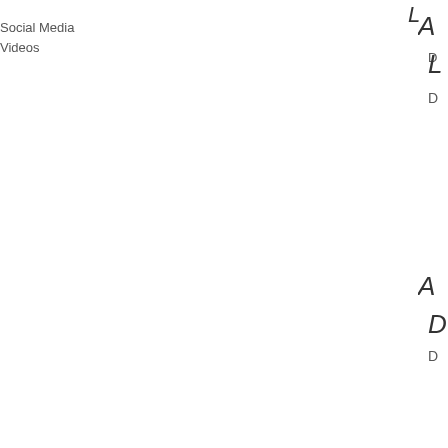Social Media
Videos
[Figure (illustration): Broken image placeholder icon with green landscape thumbnail, top center area]
L
D
[Figure (illustration): Broken image placeholder icon with green landscape thumbnail, middle center area]
A
D
D
[Figure (illustration): Broken image placeholder icon with green landscape thumbnail, lower center area]
A
D
[Figure (illustration): Broken image placeholder icon with green landscape thumbnail, bottom center area]
A
D
D